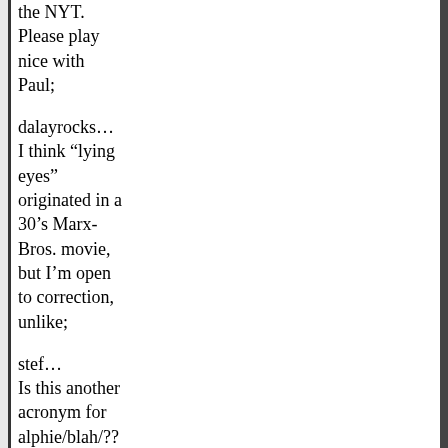the NYT. Please play nice with Paul;
dalayrocks… I think “lying eyes” originated in a 30’s Marx-Bros. movie, but I’m open to correction, unlike;
stef… Is this another acronym for alphie/blah/???
Another Drew (8018ee) — 12/26/2007 @ 11:45 am